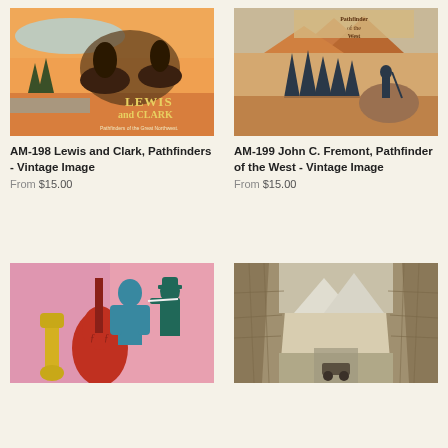[Figure (illustration): Vintage image cover art for Lewis and Clark, Pathfinders of the Great Northwest - orange/teal poster style with two figures on horseback]
AM-198 Lewis and Clark, Pathfinders - Vintage Image
From $15.00
[Figure (illustration): Vintage image cover art for John C. Fremont, Pathfinder of the West - brown/blue tones with figure among pine trees and mountains]
AM-199 John C. Fremont, Pathfinder of the West - Vintage Image
From $15.00
[Figure (illustration): Colorful modern illustration of jazz musicians with cello, saxophone, and other instruments on pink background]
[Figure (illustration): Black and white engraving of rocky mountain canyon with small vehicle or train below]